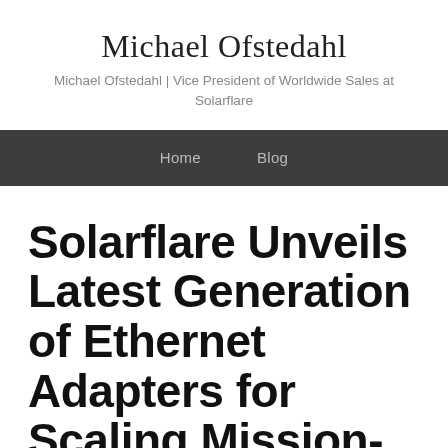Michael Ofstedahl
Michael Ofstedahl | Vice President of Worldwide Sales at Solarflare
Home  Blog
Solarflare Unveils Latest Generation of Ethernet Adapters for Scaling Mission-Critical Data Centers